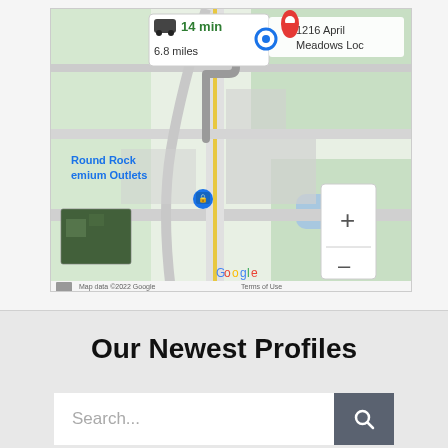[Figure (map): Google Maps screenshot showing driving directions of 14 min, 6.8 miles, to 1216 April Meadows Loc, near Round Rock Premium Outlets. Map includes zoom controls (+/-), satellite thumbnail, Google logo, and 'Map data ©2022 Google Terms of Use' footer.]
Our Newest Profiles
Search...